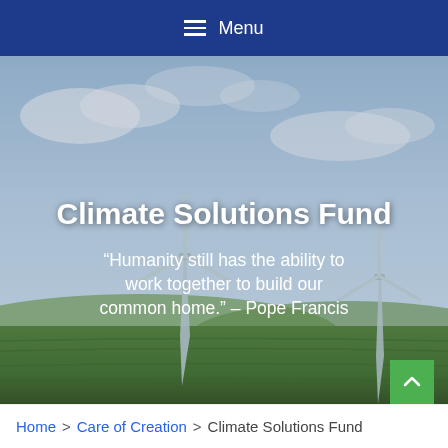☰ Menu
[Figure (photo): Hero image showing wind turbines in a green field under a blue cloudy sky, with text overlay reading 'Climate Solutions Fund' and a quote from Pope Francis]
Climate Solutions Fund
"Humanity still has the ability to work together to build our common home." – Pope Francis
Home > Care of Creation > Climate Solutions Fund